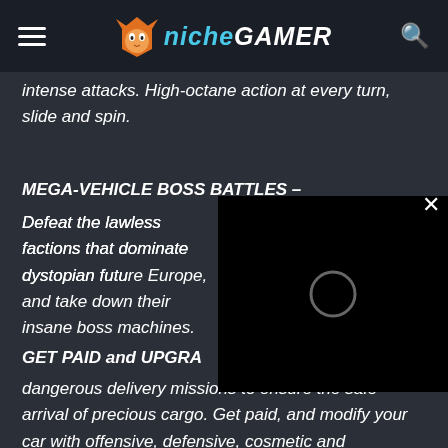Niche Gamer
intense attacks. High-octane action at every turn, slide and spin.
MEGA-VEHICLE BOSS BATTLES –
Defeat the lawless factions that dominate dystopian future Europe, and take down their insane boss machines.
GET PAID and UPGRA
dangerous delivery missions to ensure the safe arrival of precious cargo. Get paid, and modify your car with offensive, defensive, cosmetic and performance-based customisations.
[Figure (screenshot): Video player overlay with black background and loading spinner circle, with an X close button in the top right corner]